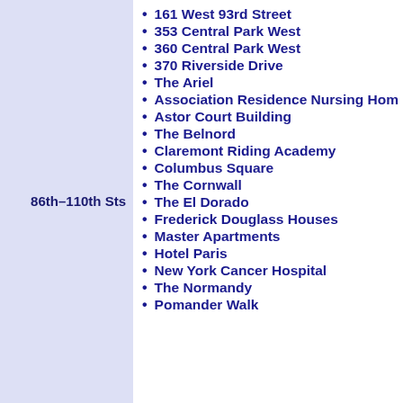86th–110th Sts
161 West 93rd Street
353 Central Park West
360 Central Park West
370 Riverside Drive
The Ariel
Association Residence Nursing Hom
Astor Court Building
The Belnord
Claremont Riding Academy
Columbus Square
The Cornwall
The El Dorado
Frederick Douglass Houses
Master Apartments
Hotel Paris
New York Cancer Hospital
The Normandy
Pomander Walk